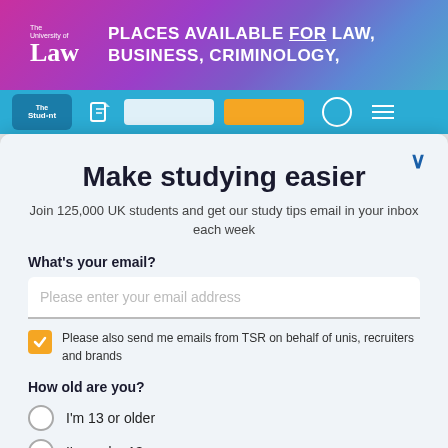[Figure (other): University of Law advertisement banner: purple/pink gradient with 'The University of Law' logo and text 'PLACES AVAILABLE FOR LAW, BUSINESS, CRIMINOLOGY,']
[Figure (screenshot): The Student Room navigation bar in teal/blue with logo, pencil icon, search input, orange button, search icon, and menu lines]
Make studying easier
Join 125,000 UK students and get our study tips email in your inbox each week
What's your email?
Please enter your email address
Please also send me emails from TSR on behalf of unis, recruiters and brands
How old are you?
I'm 13 or older
I'm under 13